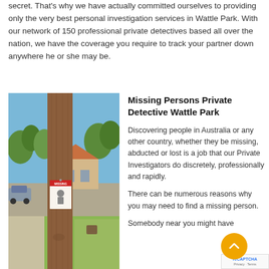secret. That's why we have actually committed ourselves to providing only the very best personal investigation services in Wattle Park. With our network of 150 professional private detectives based all over the nation, we have the coverage you require to track your partner down anywhere he or she may be.
[Figure (photo): A wooden utility pole with a missing person flyer attached to it. Background shows suburban street with houses, cars, trees and grass on a clear day.]
Missing Persons Private Detective Wattle Park
Discovering people in Australia or any other country, whether they be missing, abducted or lost is a job that our Private Investigators do discretely, professionally and rapidly.
There can be numerous reasons why you may need to find a missing person.
Somebody near you might have